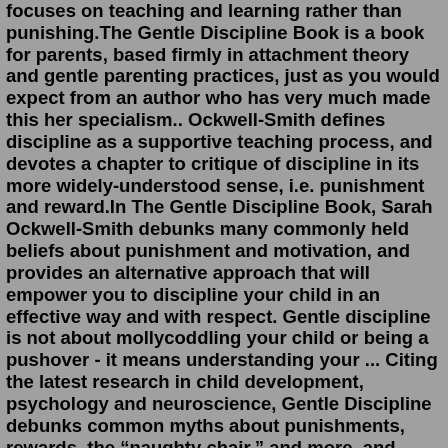focuses on teaching and learning rather than punishing.The Gentle Discipline Book is a book for parents, based firmly in attachment theory and gentle parenting practices, just as you would expect from an author who has very much made this her specialism.. Ockwell-Smith defines discipline as a supportive teaching process, and devotes a chapter to critique of discipline in its more widely-understood sense, i.e. punishment and reward.In The Gentle Discipline Book, Sarah Ockwell-Smith debunks many commonly held beliefs about punishment and motivation, and provides an alternative approach that will empower you to discipline your child in an effective way and with respect. Gentle discipline is not about mollycoddling your child or being a pushover - it means understanding your ... Citing the latest research in child development, psychology and neuroscience, Gentle Discipline debunks common myths about punishments, rewards, the "naughty chair," and more, and presents practical, connection-based techniques that really work--and that bring